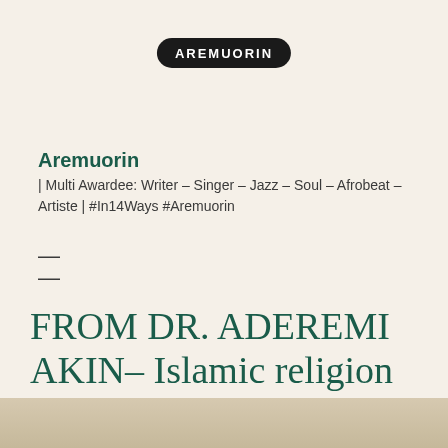AREMUORIN
Aremuorin
| Multi Awardee: Writer – Singer – Jazz – Soul – Afrobeat – Artiste | #In14Ways #Aremuorin
FROM DR. ADEREMI AKIN– Islamic religion